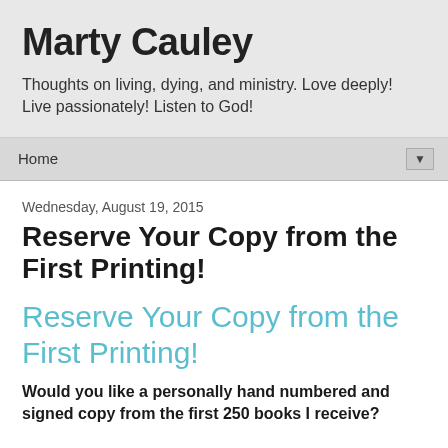Marty Cauley
Thoughts on living, dying, and ministry. Love deeply! Live passionately! Listen to God!
Home ▼
Wednesday, August 19, 2015
Reserve Your Copy from the First Printing!
Reserve Your Copy from the First Printing!
Would you like a personally hand numbered and signed copy from the first 250 books I receive?